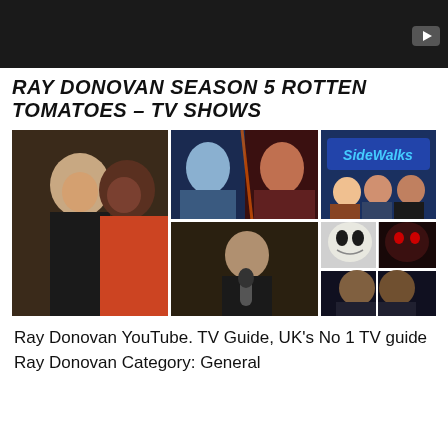[Figure (screenshot): Dark video thumbnail with YouTube play button icon in bottom-right corner]
RAY DONOVAN SEASON 5 ROTTEN TOMATOES – TV SHOWS
[Figure (photo): Collage of TV show images: two people posing at an event, two women in blue/red dramatic lighting, a SideWalks TV logo with three people, a person with a microphone, a white alien creature, a red-eyed creature, and two people in a darker scene]
Ray Donovan YouTube. TV Guide, UK's No 1 TV guide Ray Donovan Category: General